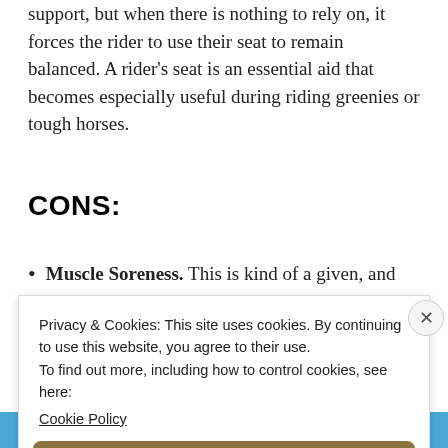support, but when there is nothing to rely on, it forces the rider to use their seat to remain balanced. A rider's seat is an essential aid that becomes especially useful during riding greenies or tough horses.
CONS:
Muscle Soreness. This is kind of a given, and not
Privacy & Cookies: This site uses cookies. By continuing to use this website, you agree to their use.
To find out more, including how to control cookies, see here: Cookie Policy
Close and accept